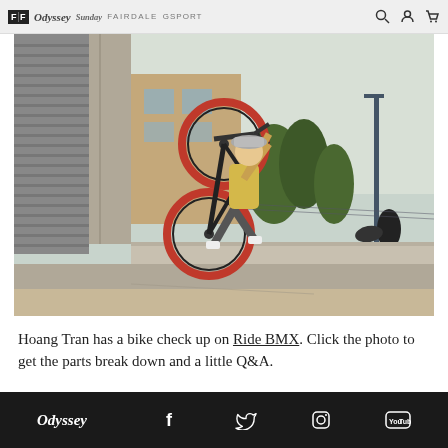FF Odyssey Sunday FAIRDALE GSPORT
[Figure (photo): BMX rider Hoang Tran performing a trick on a red BMX bike, airborne above a concrete ledge in an urban setting. The rider wearing a yellow shirt and grey bucket hat is visible with the bike tilted vertically. Background shows trees, buildings and a street lamp.]
Hoang Tran has a bike check up on Ride BMX. Click the photo to get the parts break down and a little Q&A.
Odyssey  f  Twitter  Instagram  YouTube